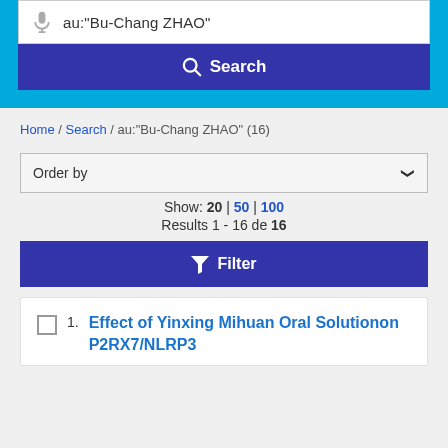au:"Bu-Chang ZHAO"
Search
Home / Search / au:"Bu-Chang ZHAO" (16)
Order by
Show: 20 | 50 | 100
Results 1 - 16 de 16
Filter
Effect of Yinxing Mihuan Oral Solutionon P2RX7/NLRP3